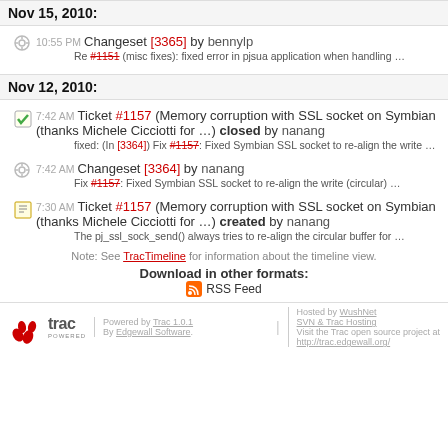Nov 15, 2010:
10:55 PM Changeset [3365] by bennylp
Re #1151 (misc fixes): fixed error in pjsua application when handling ...
Nov 12, 2010:
7:42 AM Ticket #1157 (Memory corruption with SSL socket on Symbian (thanks Michele Cicciotti for ...)) closed by nanang
fixed: (In [3364]) Fix #1157: Fixed Symbian SSL socket to re-align the write ...
7:42 AM Changeset [3364] by nanang
Fix #1157: Fixed Symbian SSL socket to re-align the write (circular) ...
7:30 AM Ticket #1157 (Memory corruption with SSL socket on Symbian (thanks Michele Cicciotti for ...)) created by nanang
The pj_ssl_sock_send() always tries to re-align the circular buffer for ...
Note: See TracTimeline for information about the timeline view.
Download in other formats:
RSS Feed
Powered by Trac 1.0.1 By Edgewall Software. | Hosted by WushNet SVN & Trac Hosting Visit the Trac open source project at http://trac.edgewall.org/